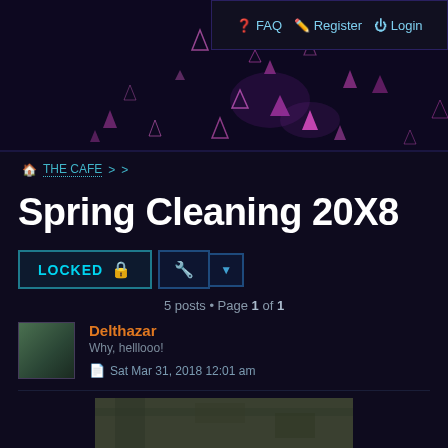[Figure (screenshot): Dark purple forum banner with scattered pink/magenta triangle particles on dark background]
FAQ  Register  Login
THE CAFE > >
Spring Cleaning 20X8
LOCKED 🔒
5 posts • Page 1 of 1
Delthazar
Why, helllooo!
Sat Mar 31, 2018 12:01 am
[Figure (photo): Partial view of a textured earthy/rocky surface image]